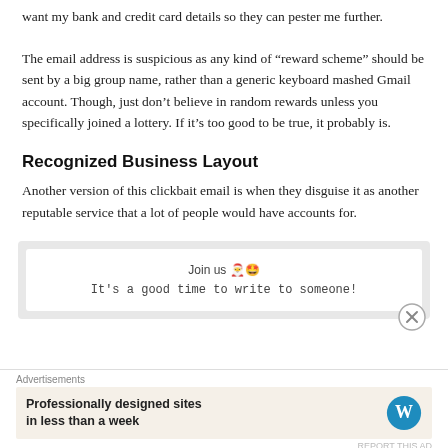want my bank and credit card details so they can pester me further.
The email address is suspicious as any kind of “reward scheme” should be sent by a big group name, rather than a generic keyboard mashed Gmail account. Though, just don’t believe in random rewards unless you specifically joined a lottery. If it’s too good to be true, it probably is.
Recognized Business Layout
Another version of this clickbait email is when they disguise it as another reputable service that a lot of people would have accounts for.
[Figure (screenshot): A screenshot of a messaging app prompt: 'Join us 🌅🤩' and 'It’s a good time to write to someone!' with a close (X) button]
Advertisements
[Figure (other): WordPress advertisement: 'Professionally designed sites in less than a week' with WordPress logo]